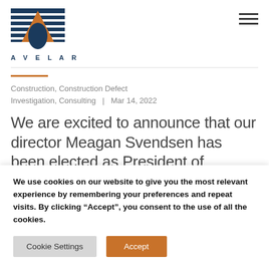[Figure (logo): Avelar logo: geometric triangle/arch shape with orange center and blue horizontal lines above, with AVELAR text below in spaced capitals]
Construction, Construction Defect Investigation, Consulting  |  Mar 14, 2022
We are excited to announce that our director Meagan Svendsen has been elected as President of Westcon Construction Consultants Board of Directors. This is a
We use cookies on our website to give you the most relevant experience by remembering your preferences and repeat visits. By clicking “Accept”, you consent to the use of all the cookies.